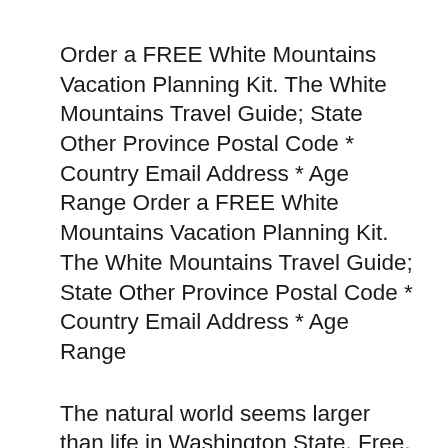Order a FREE White Mountains Vacation Planning Kit. The White Mountains Travel Guide; State Other Province Postal Code * Country Email Address * Age Range Order a FREE White Mountains Vacation Planning Kit. The White Mountains Travel Guide; State Other Province Postal Code * Country Email Address * Age Range
The natural world seems larger than life in Washington State, Free, guided public tours Washington Travel Guide. Free tripwolf travel guide for the City Seattle, USA: the best attractions, reviews, photos, map, weather, hotels and budget tips. Seattle: Pop Culture bliss in